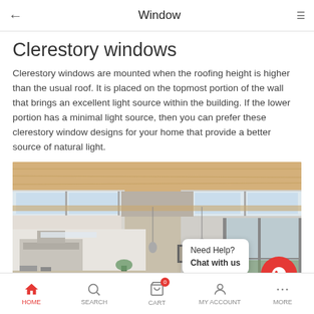Window
Clerestory windows
Clerestory windows are mounted when the roofing height is higher than the usual roof. It is placed on the topmost portion of the wall that brings an excellent light source within the building. If the lower portion has a minimal light source, then you can prefer these clerestory window designs for your home that provide a better source of natural light.
[Figure (photo): Interior photo of a modern home with clerestory windows along the top of the walls, wood-paneled ceiling, kitchen island, pendant lights, and a glass sliding door in the background. A 'Need Help? Chat with us' overlay and WhatsApp button appear in the lower right.]
HOME  SEARCH  CART  MY ACCOUNT  MORE